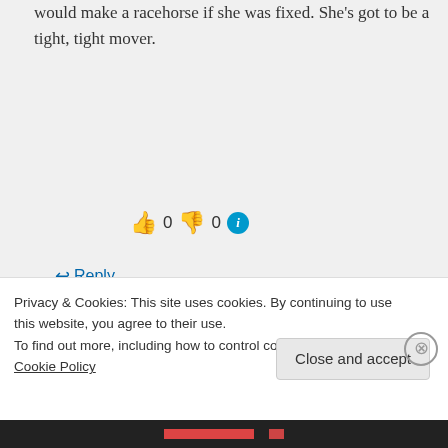would make a racehorse if she was fixed. She's got to be a tight, tight mover.
👍 0 👎 0 ℹ
↩ Reply
blondemare on August 2, 2013 at 11:58 pm
A little love would do
Privacy & Cookies: This site uses cookies. By continuing to use this website, you agree to their use.
To find out more, including how to control cookies, see here: Cookie Policy